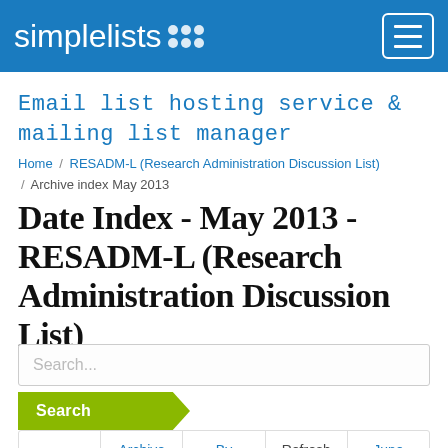simplelists ⠿  [hamburger menu]
Email list hosting service & mailing list manager
Home / RESADM-L (Research Administration Discussion List) / Archive index May 2013
Date Index - May 2013 - RESADM-L (Research Administration Discussion List)
Search...
Search
«  Archive  By  Refresh  June